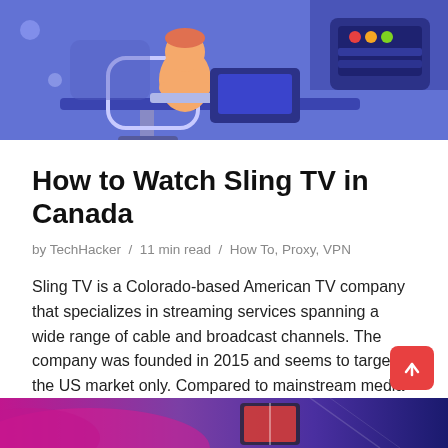[Figure (illustration): Illustration of a person sitting at a desk working on a computer, with a monitor showing colored dots (red, green, yellow), blue/purple background with decorative shapes.]
How to Watch Sling TV in Canada
by TechHacker / 11 min read / How To, Proxy, VPN
Sling TV is a Colorado-based American TV company that specializes in streaming services spanning a wide range of cable and broadcast channels. The company was founded in 2015 and seems to target the US market only. Compared to mainstream media channels, Sling TV packages are… Read More »
[Figure (illustration): Bottom banner illustration with purple/magenta gradient and abstract shapes.]